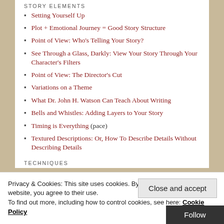STORY ELEMENTS
Setting Yourself Up
Plot + Emotional Journey = Good Story Structure
Point of View: Who's Telling Your Story?
See Through a Glass, Darkly: View Your Story Through Your Character's Filters
Point of View: The Director's Cut
Variations on a Theme
What Dr. John H. Watson Can Teach About Writing
Bells and Whistles: Adding Layers to Your Story
Timing is Everything (pace)
Textured Descriptions: Or, How To Describe Details Without Describing Details
TECHNIQUES
Privacy & Cookies: This site uses cookies. By continuing to use this website, you agree to their use. To find out more, including how to control cookies, see here: Cookie Policy